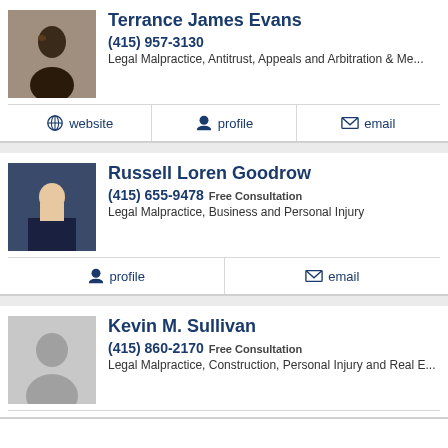Terrance James Evans
(415) 957-3130
Legal Malpractice, Antitrust, Appeals and Arbitration & Me...
website | profile | email
Russell Loren Goodrow
(415) 655-9478 Free Consultation
Legal Malpractice, Business and Personal Injury
profile | email
Kevin M. Sullivan
(415) 860-2170 Free Consultation
Legal Malpractice, Construction, Personal Injury and Real E...